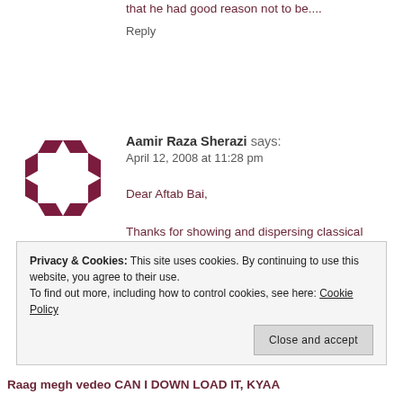that he had good reason not to be....
Reply
[Figure (logo): Dark red/maroon geometric logo made of arrow-like chevron shapes forming a square frame]
Aamir Raza Sherazi says:
April 12, 2008 at 11:28 pm
Dear Aftab Bai,
Thanks for showing and dispersing classical music for all
Regards
Aamir
Reply
Privacy & Cookies: This site uses cookies. By continuing to use this website, you agree to their use.
To find out more, including how to control cookies, see here: Cookie Policy
Close and accept
Raag megh vedeo CAN I DOWN LOAD IT, KYAA